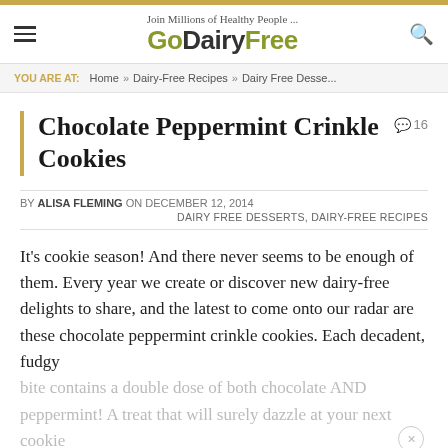Join Millions of Healthy People ... GoDairyFree
YOU ARE AT:  Home » Dairy-Free Recipes » Dairy Free Desse...
Chocolate Peppermint Crinkle Cookies
16 comments
BY ALISA FLEMING ON DECEMBER 12, 2014
DAIRY FREE DESSERTS, DAIRY-FREE RECIPES
It's cookie season! And there never seems to be enough of them. Every year we create or discover new dairy-free delights to share, and the latest to come onto our radar are these chocolate peppermint crinkle cookies. Each decadent, fudgy bite contains a double dose of both chocolate AND peppermint! A treat that will surely dazzle at your next cookie